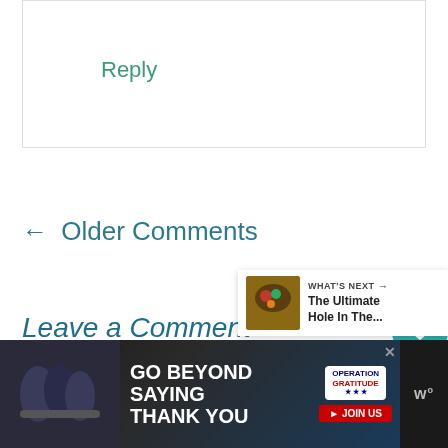Reply
← Older Comments
Leave a Comment
[Figure (screenshot): Heart/like button (teal circle with heart icon), count '1', and share button (white circle with share icon) on the right side of the page]
[Figure (screenshot): Comment text input area (bordered box)]
[Figure (screenshot): What's Next promo: food image thumbnail with text 'WHAT'S NEXT → The Ultimate Hole In The...']
[Figure (screenshot): Ad banner: 'GO BEYOND SAYING THANK YOU' with Operation Gratitude logo and JOIN US button, dark background, people photo on left]